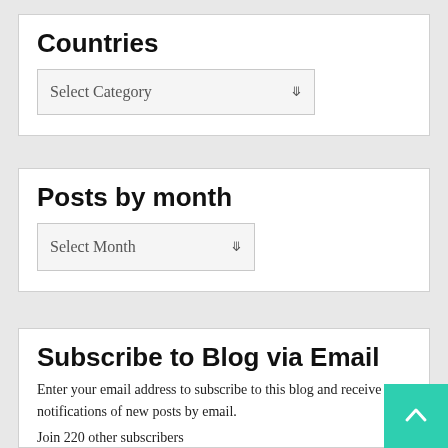Countries
Select Category
Posts by month
Select Month
Subscribe to Blog via Email
Enter your email address to subscribe to this blog and receive notifications of new posts by email.
Join 220 other subscribers
Email Address